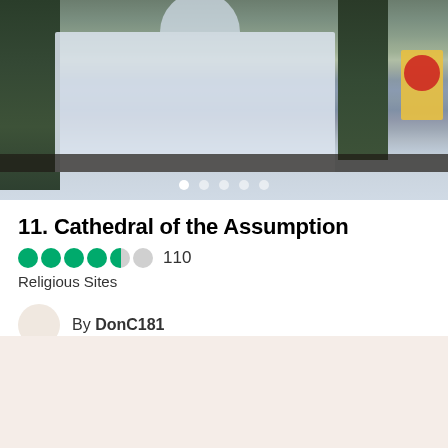[Figure (photo): Exterior photo of the Cathedral of the Assumption, a white colonial-style church building with arched windows and doorways, trees visible on left, a sign visible on the right side. Image carousel with dot indicators at the bottom.]
11. Cathedral of the Assumption
●●●●◐  110
Religious Sites
By DonC181
Nice n beautiful structures. Heard it is one of the oldest Church in Penang.